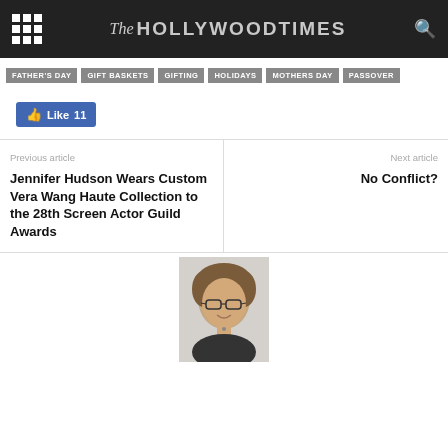The Hollywood Times
FATHER'S DAY
GIFT BASKETS
GIFTING
HOLIDAYS
MOTHERS DAY
PASSOVER
Like 11
Previous article
Jennifer Hudson Wears Custom Vera Wang Haute Collection to the 28th Screen Actor Guild Awards
Next article
No Conflict?
[Figure (photo): Author headshot photo of a woman with short brown hair and glasses, smiling, wearing a dark outfit, on a light grey background]